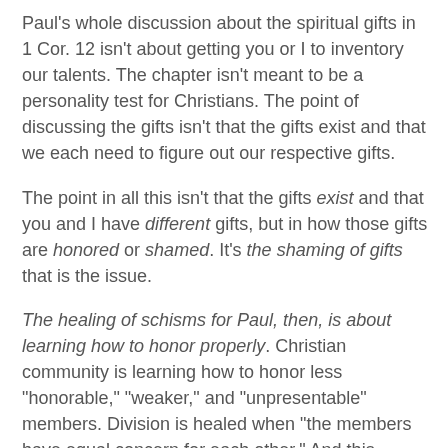Paul's whole discussion about the spiritual gifts in 1 Cor. 12 isn't about getting you or I to inventory our talents. The chapter isn't meant to be a personality test for Christians. The point of discussing the gifts isn't that the gifts exist and that we each need to figure out our respective gifts.
The point in all this isn't that the gifts exist and that you and I have different gifts, but in how those gifts are honored or shamed. It's the shaming of gifts that is the issue.
The healing of schisms for Paul, then, is about learning how to honor properly. Christian community is learning how to honor less "honorable," "weaker," and "unpresentable" members. Division is healed when "the members have equal concern for each other." And this requires rehabilitative action in how we honor. The less honorable members require, according to Paul, "special treatment." In this we imitate God: God gives "greater honor to those who lacked it."
So that's the message I keep preaching--over and over--